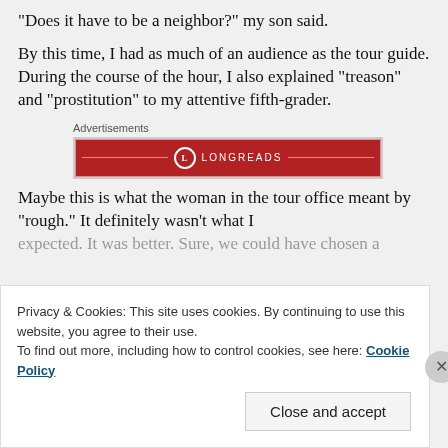“Does it have to be a neighbor?” my son said.
By this time, I had as much of an audience as the tour guide. During the course of the hour, I also explained “treason” and “prostitution” to my attentive fifth-grader.
[Figure (other): Longreads advertisement banner with red background and white logo/text]
Maybe this is what the woman in the tour office meant by “rough.” It definitely wasn’t what I expected. It was better. Sure, we could have chosen a
Privacy & Cookies: This site uses cookies. By continuing to use this website, you agree to their use. To find out more, including how to control cookies, see here: Cookie Policy
Close and accept